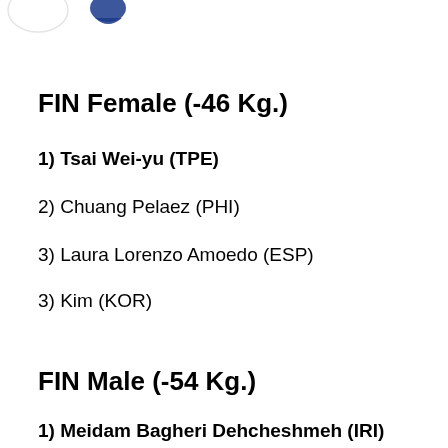[Figure (logo): Partial logo/emblem visible at top of page, showing blue graphic element]
FIN Female (-46 Kg.)
1) Tsai Wei-yu (TPE)
2) Chuang Pelaez (PHI)
3) Laura Lorenzo Amoedo (ESP)
3) Kim (KOR)
FIN Male (-54 Kg.)
1) Meidam Bagheri Dehcheshmeh (IRI)
2) Ahmad Nabil Huhammad Faqih (INA)